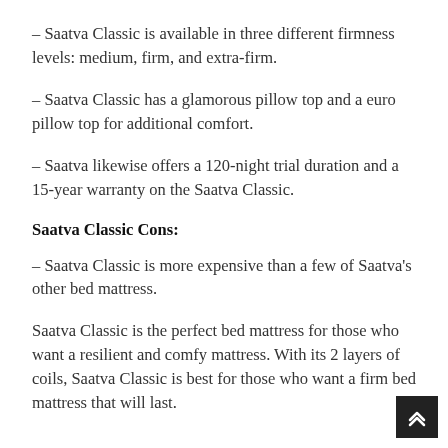– Saatva Classic is available in three different firmness levels: medium, firm, and extra-firm.
– Saatva Classic has a glamorous pillow top and a euro pillow top for additional comfort.
– Saatva likewise offers a 120-night trial duration and a 15-year warranty on the Saatva Classic.
Saatva Classic Cons:
– Saatva Classic is more expensive than a few of Saatva's other bed mattress.
Saatva Classic is the perfect bed mattress for those who want a resilient and comfy mattress. With its 2 layers of coils, Saatva Classic is best for those who want a firm bed mattress that will last.